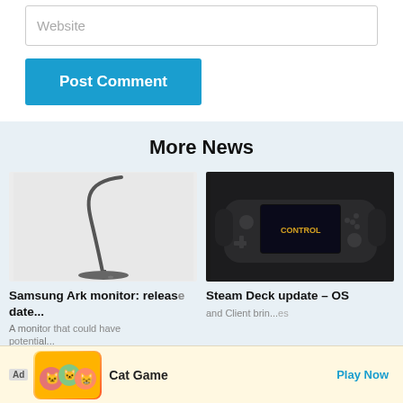[Figure (screenshot): Website text input field (form input placeholder)]
[Figure (screenshot): Post Comment button in blue]
More News
[Figure (photo): Samsung Ark monitor product photo on white background]
Samsung Ark monitor: release date, price, specs
A monitor that could have massive potential
[Figure (photo): Steam Deck handheld gaming device showing Control game on screen]
Steam Deck update – OS
[Figure (screenshot): Ad banner: Cat Game with cartoon cat characters, Play Now button]